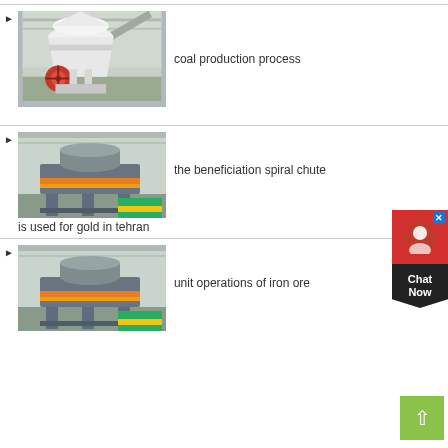[Figure (photo): Industrial cone crusher machine in factory setting, white and red color]
coal production process
[Figure (photo): Industrial VSI crusher machine in factory, gray with orange ring]
the beneficiation spiral chute
is used for gold in tehran
[Figure (photo): Industrial VSI crusher machine in factory, gray with orange ring (same model)]
unit operations of iron ore